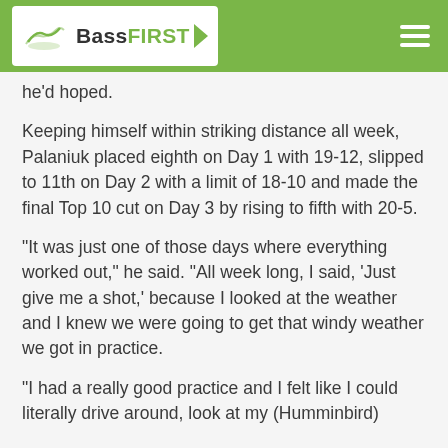BassFIRST
he'd hoped.
Keeping himself within striking distance all week, Palaniuk placed eighth on Day 1 with 19-12, slipped to 11th on Day 2 with a limit of 18-10 and made the final Top 10 cut on Day 3 by rising to fifth with 20-5.
“It was just one of those days where everything worked out,” he said. “All week long, I said, ‘Just give me a shot,’ because I looked at the weather and I knew we were going to get that windy weather we got in practice.
“I had a really good practice and I felt like I could literally drive around, look at my (Humminbird)